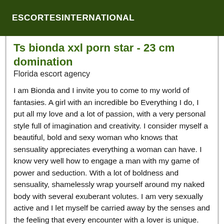ESCORTESINTERNATIONAL
Ts bionda xxl porn star - 23 cm domination
Florida escort agency
I am Bionda and I invite you to come to my world of fantasies. A girl with an incredible bo Everything I do, I put all my love and a lot of passion, with a very personal style full of imagination and creativity. I consider myself a beautiful, bold and sexy woman who knows that sensuality appreciates everything a woman can have. I know very well how to engage a man with my game of power and seduction. With a lot of boldness and sensuality, shamelessly wrap yourself around my naked body with several exuberant volutes. I am very sexually active and I let myself be carried away by the senses and the feeling that every encounter with a lover is unique. Also I am a girl who likes to dance calmly and spontaneously or share relaxing moments in good